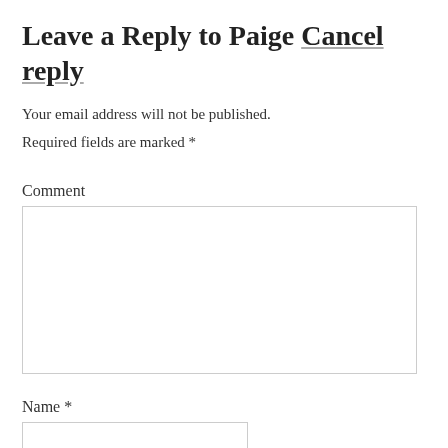Leave a Reply to Paige Cancel reply
Your email address will not be published.
Required fields are marked *
Comment
Name *